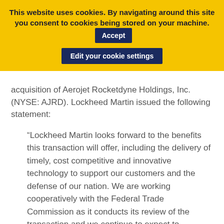This website uses cookies. By navigating around this site you consent to cookies being stored on your machine. Accept
Edit your cookie settings
acquisition of Aerojet Rocketdyne Holdings, Inc. (NYSE: AJRD). Lockheed Martin issued the following statement:
“Lockheed Martin looks forward to the benefits this transaction will offer, including the delivery of timely, cost competitive and innovative technology to support our customers and the defense of our nation. We are working cooperatively with the Federal Trade Commission as it conducts its review of the transaction and we continue to expect to complete the acquisition in the second half of 2021.
“The acquisition of Aerojet Rocketdyne will enhance Lockheed Martin’s ability to develop and